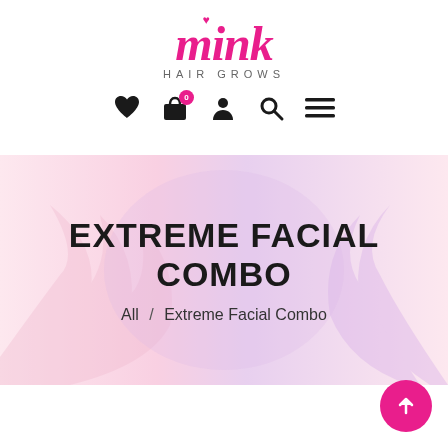[Figure (logo): Mink Hair Grows brand logo with pink cursive 'mink' text and grey uppercase 'HAIR GROWS' subtitle]
[Figure (infographic): Navigation icon bar with heart, shopping bag with badge '0', person, search, and hamburger menu icons]
[Figure (illustration): Hero banner with pink and lavender gradient background with leaf/floral silhouette design]
EXTREME FACIAL COMBO
All  /  Extreme Facial Combo
[Figure (infographic): Pink circular scroll-to-top button with upward arrow]